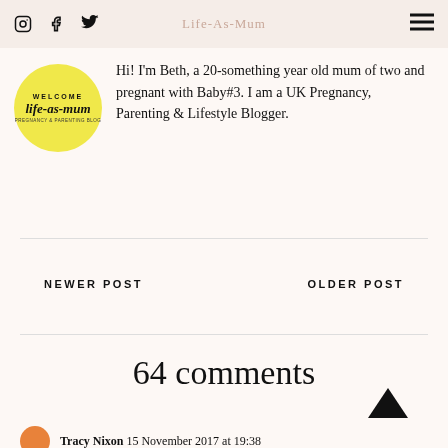Life-As-Mum
[Figure (logo): Yellow circle logo with 'WELCOME life-as-mum PREGNANCY & PARENTING BLOG' text]
Hi! I'm Beth, a 20-something year old mum of two and pregnant with Baby#3. I am a UK Pregnancy, Parenting & Lifestyle Blogger.
NEWER POST
OLDER POST
64 comments
Tracy Nixon 15 November 2017 at 19:38